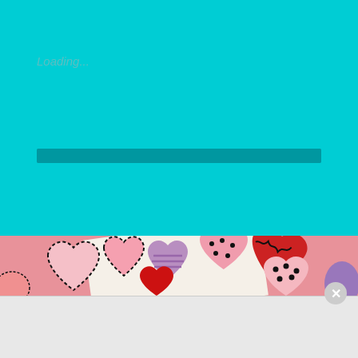Loading...
[Figure (infographic): A cyan/teal loading screen with a progress bar partially filled, showing a loading state.]
[Figure (photo): Photo of decorated foam/paper hearts in various colors (pink, red, purple) with black doodle patterns arranged on a white canvas against a pink background.]
Advertisements
[Figure (screenshot): Bloomingdale's advertisement banner showing logo, 'View Today's Top Deals!' tagline, a woman in a hat, and 'SHOP NOW >' button.]